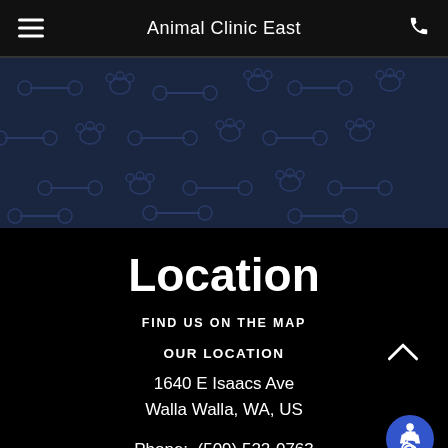Animal Clinic East
[Figure (illustration): Dark navy banner with repeating pet-themed pattern of paw prints and dog bones in a slightly lighter shade]
Location
FIND US ON THE MAP
OUR LOCATION
1640 E Isaacs Ave
Walla Walla, WA, US
Phone:  (509) 522-0763